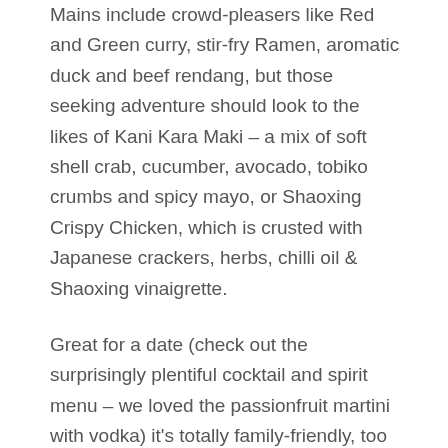Mains include crowd-pleasers like Red and Green curry, stir-fry Ramen, aromatic duck and beef rendang, but those seeking adventure should look to the likes of Kani Kara Maki – a mix of soft shell crab, cucumber, avocado, tobiko crumbs and spicy mayo, or Shaoxing Crispy Chicken, which is crusted with Japanese crackers, herbs, chilli oil & Shaoxing vinaigrette.
Great for a date (check out the surprisingly plentiful cocktail and spirit menu – we loved the passionfruit martini with vodka) it's totally family-friendly, too – the dessert menu has tons to offer restless kids and sweet-toothed adults. Don't miss the frozen yoghurts, topped with anything from M&Ms to Oreos to biscuit crumbs.